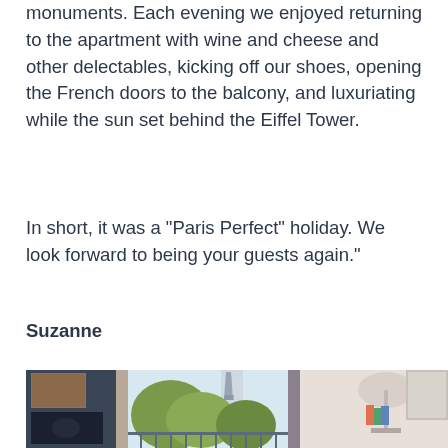monuments. Each evening we enjoyed returning to the apartment with wine and cheese and other delectables, kicking off our shoes, opening the French doors to the balcony, and luxuriating while the sun set behind the Eiffel Tower.
In short, it was a "Paris Perfect" holiday. We look forward to being your guests again."
Suzanne
[Figure (photo): Interior photo of a Paris apartment living room with French doors open to a balcony, showing the Eiffel Tower through the window, green trees, artwork on the wall, a lamp on the right, and flowers or decorative items in the foreground.]